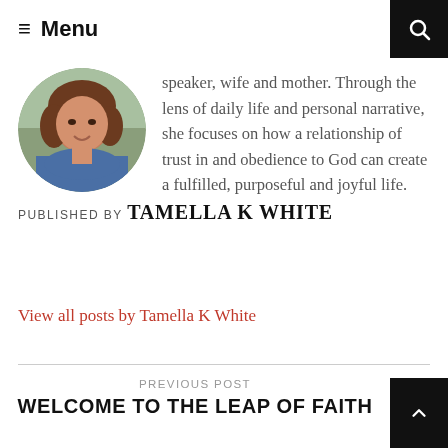≡ Menu
[Figure (photo): Circular profile photo of Tamella K White, a woman with brown wavy hair, smiling, wearing a blue patterned top, outdoors]
speaker, wife and mother. Through the lens of daily life and personal narrative, she focuses on how a relationship of trust in and obedience to God can create a fulfilled, purposeful and joyful life.
PUBLISHED BY TAMELLA K WHITE
View all posts by Tamella K White
PREVIOUS POST
WELCOME TO THE LEAP OF FAITH